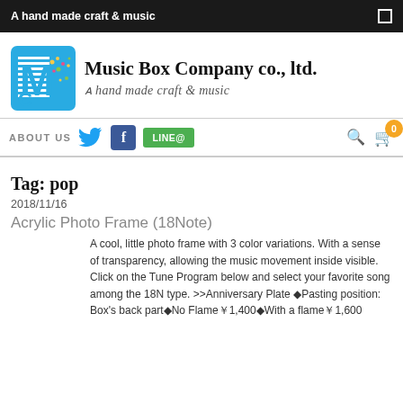A hand made craft & music
[Figure (logo): Music Box Company co., ltd. logo with blue square MBC icon and colorful dots, company name in serif font, tagline 'A hand made craft & music' in italic]
ABOUT US  [Twitter] [Facebook] [LINE@]  [search] [cart 0]
Tag: pop
2018/11/16
Acrylic Photo Frame (18Note)
A cool, little photo frame with 3 color variations. With a sense of transparency, allowing the music movement inside visible. Click on the Tune Program below and select your favorite song among the 18N type. >>Anniversary Plate ◆Pasting position: Box's back part◆No Flame¥1,400◆With a flame¥1,600